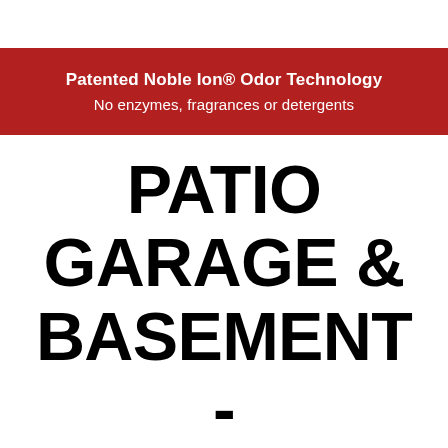Patented Noble Ion® Odor Technology
No enzymes, fragrances or detergents
PATIO GARAGE & BASEMENT - TOUGH ODORS
Filter (1)
Sort